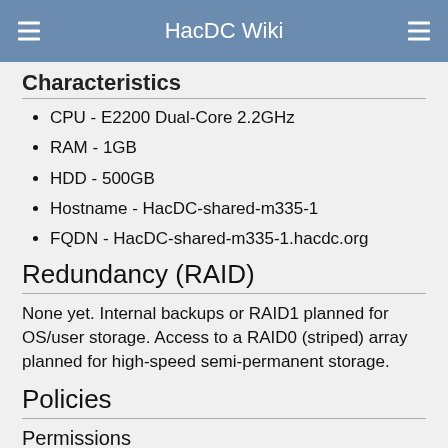HacDC Wiki
Characteristics
CPU - E2200 Dual-Core 2.2GHz
RAM - 1GB
HDD - 500GB
Hostname - HacDC-shared-m335-1
FQDN - HacDC-shared-m335-1.hacdc.org
Redundancy (RAID)
None yet. Internal backups or RAID1 planned for OS/user storage. Access to a RAID0 (striped) array planned for high-speed semi-permanent storage.
Policies
Permissions
Root